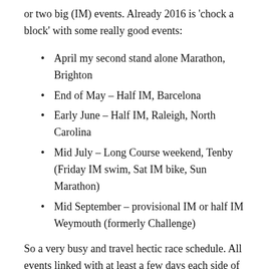or two big (IM) events. Already 2016 is ‘chock a block’ with some really good events:
April my second stand alone Marathon, Brighton
End of May – Half IM, Barcelona
Early June – Half IM, Raleigh, North Carolina
Mid July – Long Course weekend, Tenby (Friday IM swim, Sat IM bike, Sun Marathon)
Mid September – provisional IM or half IM Weymouth (formerly Challenge)
So a very busy and travel hectic race schedule. All events linked with at least a few days each side of the event to make it more of a holiday and break rather than ‘just’ an event.
Barcelona we are renting a two bed apartment and spending almost a week there, North Carolina we will be there at least a week staying with relatives